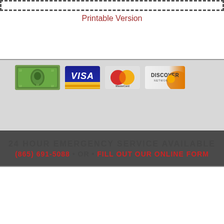Printable Version
[Figure (infographic): Payment methods banner showing cash bill, Visa card, MasterCard, and Discover Network card icons, with text '24 HOUR EMERGENCY SERVICE AVAILABLE' and '(865) 691-5088 • OR • FILL OUT OUR ONLINE FORM']